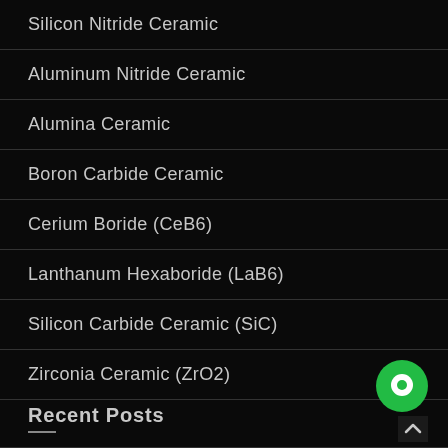Silicon Nitride Ceramic
Aluminum Nitride Ceramic
Alumina Ceramic
Boron Carbide Ceramic
Cerium Boride (CeB6)
Lanthanum Hexaboride (LaB6)
Silicon Carbide Ceramic (SiC)
Zirconia Ceramic (ZrO2)
Recent Posts